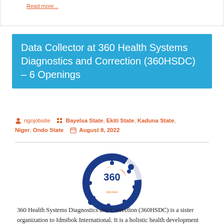Read more...
Data Collector at 360 Health Systems Diagnostics and Correction (360HSDC) – 6 Openings
ngojobsite   Bayelsa State, Ekiti State, Kaduna State, Niger, Ondo State   August 8, 2022
[Figure (logo): 360 HSDC / Idmibok circular logo with human figures in dark blue orbit and orange '360' text in center]
360 Health Systems Diagnostics and Correction (360HSDC) is a sister organization to Idmibok International. It is a holistic health development